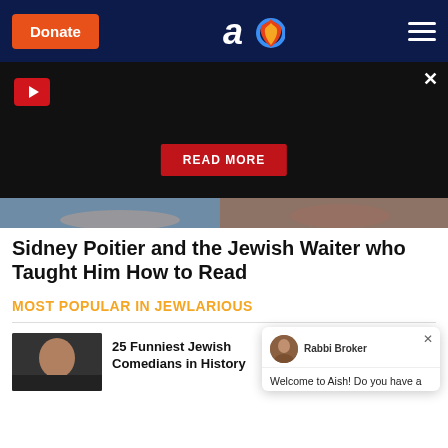Donate | Aish logo | Menu
[Figure (screenshot): Black video player area with play button and READ MORE button overlay]
[Figure (photo): Partial photo showing persons in a scene from Sidney Poitier article]
Sidney Poitier and the Jewish Waiter who Taught Him How to Read
MOST POPULAR IN JEWLARIOUS
25 Funniest Jewish Comedians in History